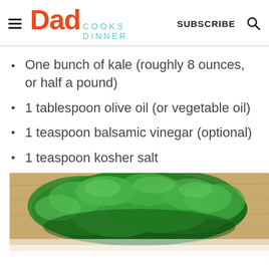Dad Cooks Dinner | SUBSCRIBE
One bunch of kale (roughly 8 ounces, or half a pound)
1 tablespoon olive oil (or vegetable oil)
1 teaspoon balsamic vinegar (optional)
1 teaspoon kosher salt
[Figure (photo): Fresh kale on a wooden cutting board]